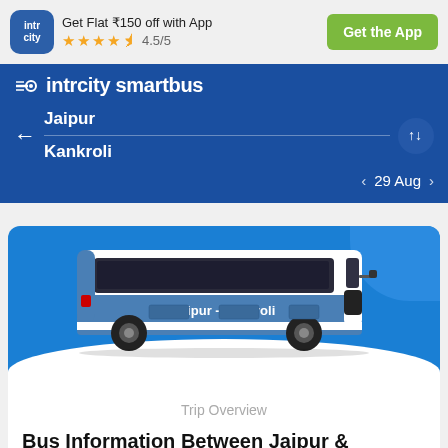[Figure (screenshot): IntrCity app logo icon — blue rounded square with 'intr city' text in white]
Get Flat ₹150 off with App
★★★★½ 4.5/5
Get the App
intrcity smartbus
Jaipur
Kankroli
29 Aug
[Figure (illustration): Blue and white intercity bus illustration with 'Jaipur - Kankroli' text on the side, set against a blue background with white wave at bottom]
Trip Overview
Bus Information Between Jaipur & Kankroli